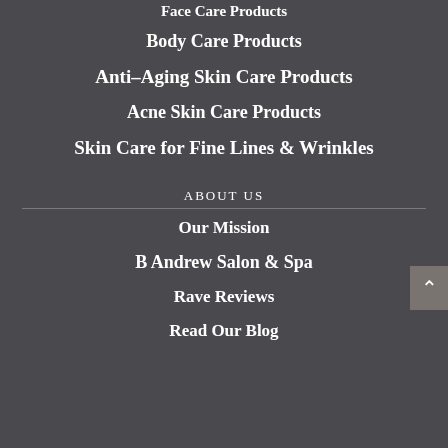Face Care Products
Body Care Products
Anti–Aging Skin Care Products
Acne Skin Care Products
Skin Care for Fine Lines & Wrinkles
ABOUT US
Our Mission
B Andrew Salon & Spa
Rave Reviews
Read Our Blog